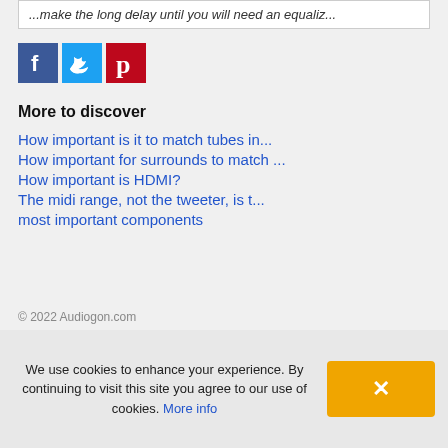...make the long delay until you will need an equaliz...
[Figure (other): Social media share icons: Facebook (blue), Twitter (light blue), Pinterest (red)]
More to discover
How important is it to match tubes in...
How important for surrounds to match ...
How important is HDMI?
The midi range, not the tweeter, is t...
most important components
© 2022 Audiogon.com
We use cookies to enhance your experience. By continuing to visit this site you agree to our use of cookies. More info